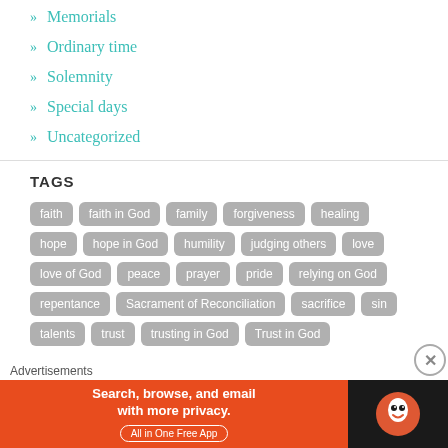» Memorials
» Ordinary time
» Solemnity
» Special days
» Uncategorized
TAGS
faith, faith in God, family, forgiveness, healing, hope, hope in God, humility, judging others, love, love of God, peace, prayer, pride, relying on God, repentance, Sacrament of Reconciliation, sacrifice, sin, talents, trust, trusting in God, Trust in God
Advertisements
[Figure (screenshot): DuckDuckGo advertisement banner: 'Search, browse, and email with more privacy. All in One Free App' with DuckDuckGo logo on dark background]